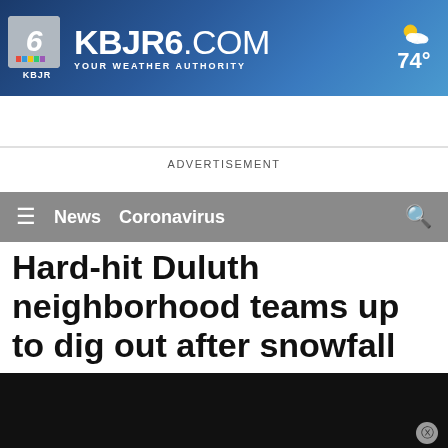[Figure (logo): KBJR6.com news website header banner with logo showing number 6, NBC peacock icon, KBJR text, site name KBJR6.COM, tagline YOUR WEATHER AUTHORITY, and weather widget showing partly cloudy 74 degrees]
KBJR6.COM YOUR WEATHER AUTHORITY 74°
News  Coronavirus
ADVERTISEMENT
Hard-hit Duluth neighborhood teams up to dig out after snowfall
[Figure (photo): Black/dark news video thumbnail at bottom of page]